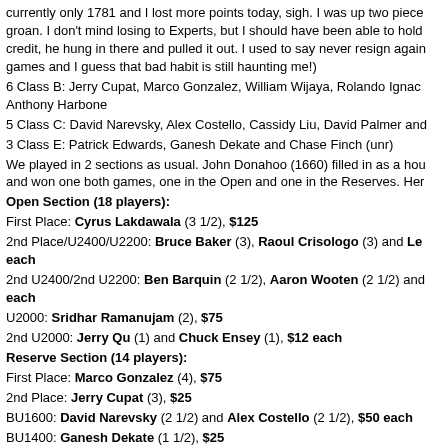currently only 1781 and I lost more points today, sigh. I was up two pieces groan. I don't mind losing to Experts, but I should have been able to hold credit, he hung in there and pulled it out. I used to say never resign again games and I guess that bad habit is still haunting me!)
6 Class B: Jerry Cupat, Marco Gonzalez, William Wijaya, Rolando Ignac Anthony Harbone
5 Class C: David Narevsky, Alex Costello, Cassidy Liu, David Palmer and
3 Class E: Patrick Edwards, Ganesh Dekate and Chase Finch (unr)
We played in 2 sections as usual. John Donahoo (1660) filled in as a hou and won one both games, one in the Open and one in the Reserves. Her
Open Section (18 players):
First Place: Cyrus Lakdawala (3 1/2), $125
2nd Place/U2400/U2200: Bruce Baker (3), Raoul Crisologo (3) and Le each
2nd U2400/2nd U2200: Ben Barquin (2 1/2), Aaron Wooten (2 1/2) and each
U2000: Sridhar Ramanujam (2), $75
2nd U2000: Jerry Qu (1) and Chuck Ensey (1), $12 each
Reserve Section (14 players):
First Place: Marco Gonzalez (4), $75
2nd Place: Jerry Cupat (3), $25
BU1600: David Narevsky (2 1/2) and Alex Costello (2 1/2), $50 each
BU1400: Ganesh Dekate (1 1/2), $25
Best Games TBA
Total Prizes: $755